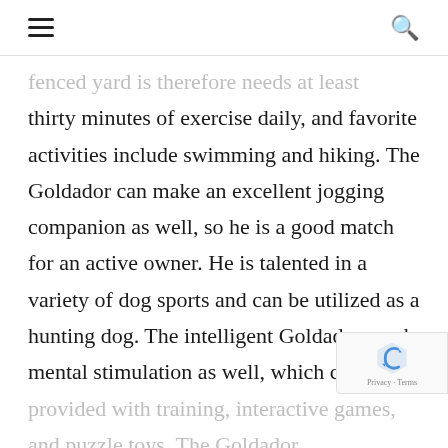☰  🔍
faded top partial line (cropped): ...fenced yard is therefore needs at least
thirty minutes of exercise daily, and favorite activities include swimming and hiking. The Goldador can make an excellent jogging companion as well, so he is a good match for an active owner. He is talented in a variety of dog sports and can be utilized as a hunting dog. The intelligent Goldador needs mental stimulation as well, which can be
provided with training, interactive games, and puzzle toys. The Goldador